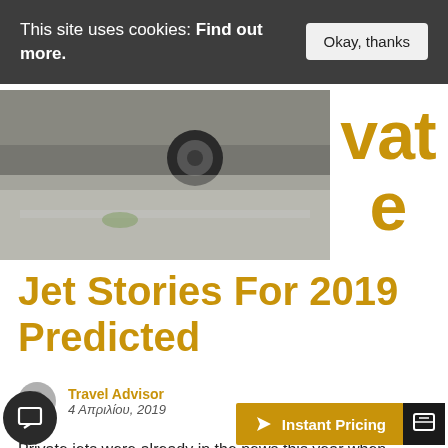This site uses cookies: Find out more.
[Figure (photo): Partial view of a car on a road surface, with 'vate' text (partial word 'Private') partially visible in gold on the right side]
Jet Stories For 2019 Predicted
Travel Advisor
4 Απριλίου, 2019
Private jets were already in the news this year when rts that as many as 1,500 w World Economic Forum in Davos drove a number of